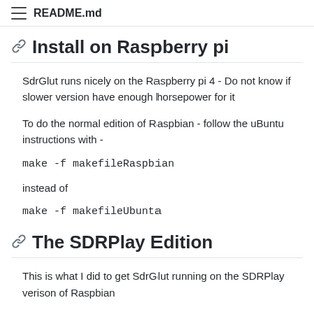README.md
Install on Raspberry pi
SdrGlut runs nicely on the Raspberry pi 4 - Do not know if slower version have enough horsepower for it
To do the normal edition of Raspbian - follow the uBuntu instructions with -
make -f makefileRaspbian
instead of
make -f makefileUbunta
The SDRPlay Edition
This is what I did to get SdrGlut running on the SDRPlay verison of Raspbian